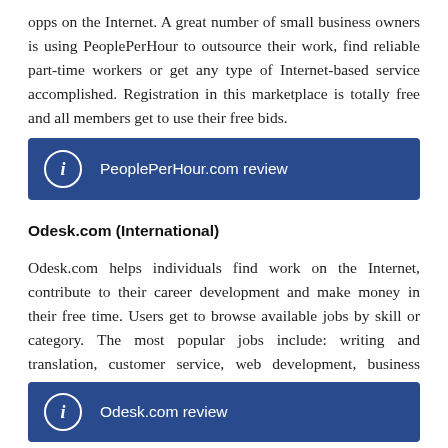opps on the Internet. A great number of small business owners is using PeoplePerHour to outsource their work, find reliable part-time workers or get any type of Internet-based service accomplished. Registration in this marketplace is totally free and all members get to use their free bids.
PeoplePerHour.com review
Odesk.com (International)
Odesk.com helps individuals find work on the Internet, contribute to their career development and make money in their free time. Users get to browse available jobs by skill or category. The most popular jobs include: writing and translation, customer service, web development, business services and networking systems.
Odesk.com review